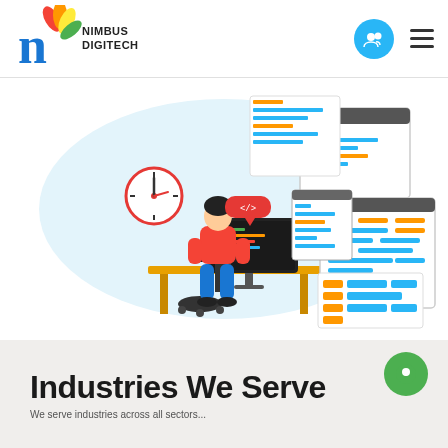Nimbus Digitech — logo and navigation header
[Figure (illustration): Illustration of a developer sitting at a desk working on a computer, with UI/code windows floating around and a wall clock, on a light blue oval background]
Industries We Serve
We serve industries across all sectors...